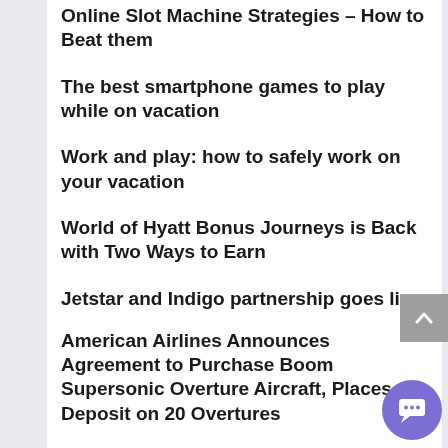Online Slot Machine Strategies – How to Beat them
The best smartphone games to play while on vacation
Work and play: how to safely work on your vacation
World of Hyatt Bonus Journeys is Back with Two Ways to Earn
Jetstar and Indigo partnership goes live
American Airlines Announces Agreement to Purchase Boom Supersonic Overture Aircraft, Places Deposit on 20 Overtures
New series reveals Sydney has all the ingredients for the ultimate holiday